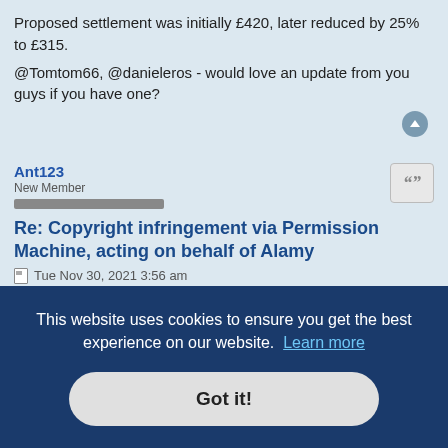Proposed settlement was initially £420, later reduced by 25% to £315.
@Tomtom66, @danieleros - would love an update from you guys if you have one?
Ant123
New Member
Re: Copyright infringement via Permission Machine, acting on behalf of Alamy
Tue Nov 30, 2021 3:56 am
Hi, I have received the same and same figures. I have yet to respond but the 21 days are up to pay. I have contacted several solicitors but non seeming want to help for such small fees. I am going to ask for the model
acting
Thu Dec 16, 2021 1:00 pm
This website uses cookies to ensure you get the best experience on our website. Learn more
Got it!